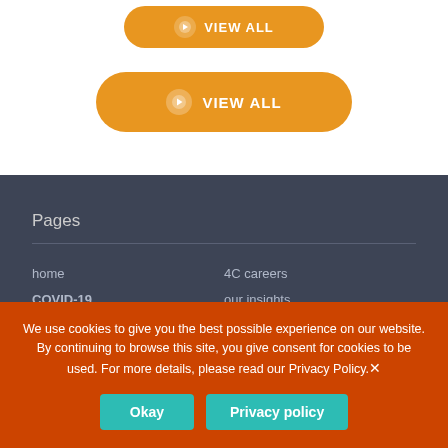[Figure (other): Orange rounded button labeled VIEW ALL with arrow icon, partially visible at top]
[Figure (other): Orange rounded button labeled VIEW ALL with arrow icon]
Pages
home
COVID-19
welcome to 4C
4C careers
our insights
contact us
We use cookies to give you the best possible experience on our website. By continuing to browse this site, you give consent for cookies to be used. For more details, please read our Privacy Policy.
Okay  Privacy policy